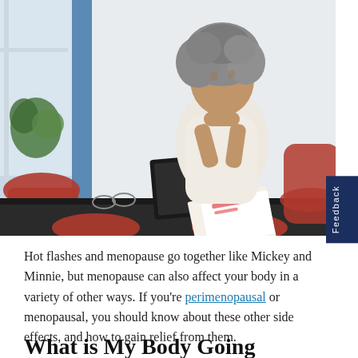[Figure (photo): A middle-aged woman with curly gray hair sitting at a dark conference table, resting her chin on her hands thoughtfully, with a laptop and papers in front of her, and red chairs visible around the table. Office setting with blue wall and plant in background.]
Hot flashes and menopause go together like Mickey and Minnie, but menopause can also affect your body in a variety of other ways. If you're perimenopausal or menopausal, you should know about these other side effects, and how to gain relief from them.
What is My Body Going Through